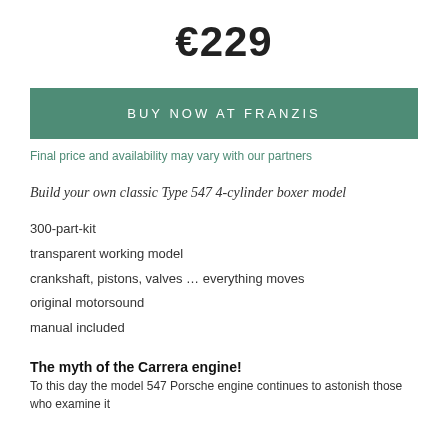€229
BUY NOW AT FRANZIS
Final price and availability may vary with our partners
Build your own classic Type 547 4-cylinder boxer model
300-part-kit
transparent working model
crankshaft, pistons, valves … everything moves
original motorsound
manual included
The myth of the Carrera engine!
To this day the model 547 Porsche engine continues to astonish those who examine it